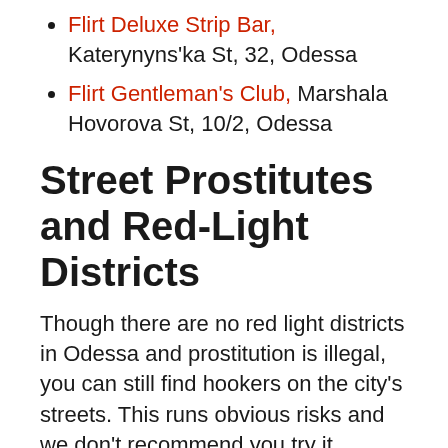Flirt Deluxe Strip Bar, Katerynyns'ka St, 32, Odessa
Flirt Gentleman's Club, Marshala Hovorova St, 10/2, Odessa
Street Prostitutes and Red-Light Districts
Though there are no red light districts in Odessa and prostitution is illegal, you can still find hookers on the city's streets. This runs obvious risks and we don't recommend you try it.
Sex Shops
There are only a few sex shops in Odessa,